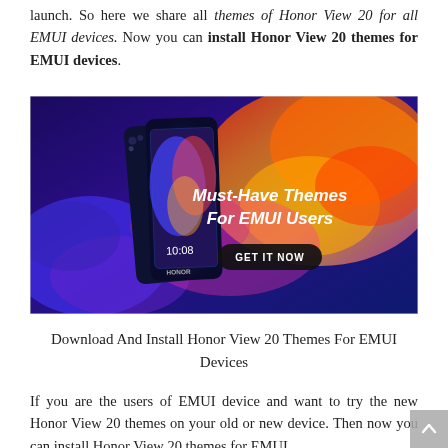launch. So here we share all themes of Honor View 20 for all EMUI devices. Now you can install Honor View 20 themes for EMUI devices.
[Figure (photo): Promotional banner for Honor View 20 showing a smartphone with colorful flowing paint/smoke background. Text overlay reads 'Must-Have Themes For EMUI Users' with a 'GET IT NOW' button.]
Download And Install Honor View 20 Themes For EMUI Devices
If you are the users of EMUI device and want to try the new Honor View 20 themes on your old or new device. Then now you can install Honor View 20 themes for EMUI